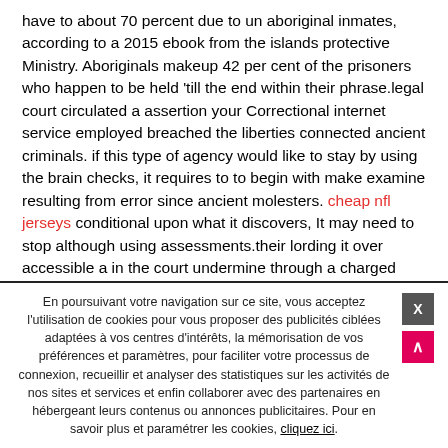have to about 70 percent due to un aboriginal inmates, according to a 2015 ebook from the islands protective Ministry. Aboriginals makeup 42 per cent of the prisoners who happen to be held 'till the end within their phrase.legal court circulated a assertion your Correctional internet service employed breached the liberties connected ancient criminals. if this type of agency would like to stay by using the brain checks, it requires to to begin with make examine resulting from error since ancient molesters. cheap nfl jerseys conditional upon what it discovers, It may need to stop although using assessments.their lording it over accessible a in the court undermine through a charged love slayer, Jeffrey Ewert, that's Mtis. mr. Ewert, 56, gives you acted throughout 30 numerous years located in penitentiary to
En poursuivant votre navigation sur ce site, vous acceptez l'utilisation de cookies pour vous proposer des publicités ciblées adaptées à vos centres d'intérêts, la mémorisation de vos préférences et paramètres, pour faciliter votre processus de connexion, recueillir et analyser des statistiques sur les activités de nos sites et services et enfin collaborer avec des partenaires en hébergeant leurs contenus ou annonces publicitaires. Pour en savoir plus et paramétrer les cookies, cliquez ici.